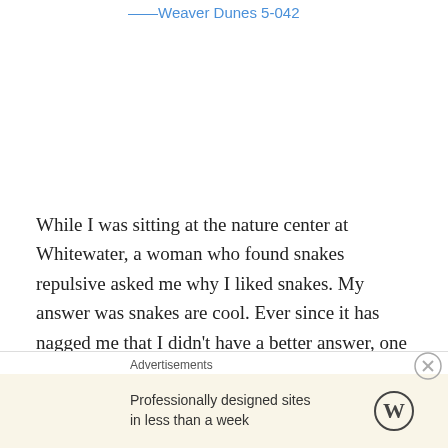——Weaver Dunes 5-042
While I was sitting at the nature center at Whitewater, a woman who found snakes repulsive asked me why I liked snakes. My answer was snakes are cool. Ever since it has nagged me that I didn't have a better answer, one that would educate her and perhaps get her to rethink how she felt about them. Indeed, I do think snakes are cool. Why
Advertisements
Professionally designed sites in less than a week